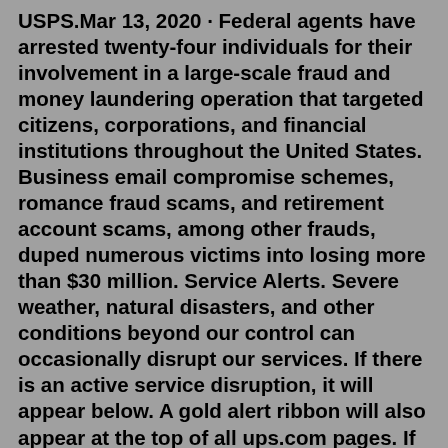USPS.Mar 13, 2020 · Federal agents have arrested twenty-four individuals for their involvement in a large-scale fraud and money laundering operation that targeted citizens, corporations, and financial institutions throughout the United States. Business email compromise schemes, romance fraud scams, and retirement account scams, among other frauds, duped numerous victims into losing more than $30 million. Service Alerts. Severe weather, natural disasters, and other conditions beyond our control can occasionally disrupt our services. If there is an active service disruption, it will appear below. A gold alert ribbon will also appear at the top of all ups.com pages. If there is no service alert information below, the UPS transportation network is ... Feb 02, 2022 · In an unprecedented move, the Federal Bureau of Prisons (BOP) has locked down all of its 122 facilities across the United States as a result of a fight at the high security prisons, USP Beaumont ... Location: Georgia . Prisoners at U.S.P. Atlanta are now on